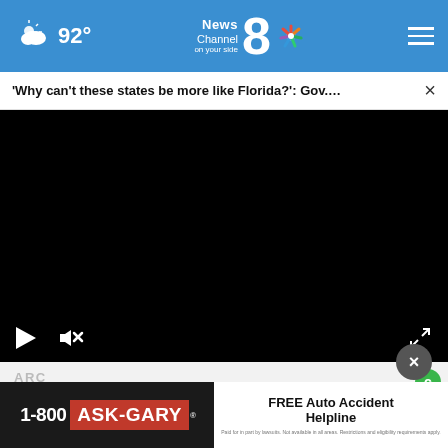92° News Channel 8 on your side
'Why can’t these states be more like Florida?': Gov.... ×
[Figure (screenshot): Black video player with play button, mute button, and fullscreen button controls visible]
[Figure (infographic): 1-800 ASK-GARY advertisement banner with Free Auto Accident Helpline text]